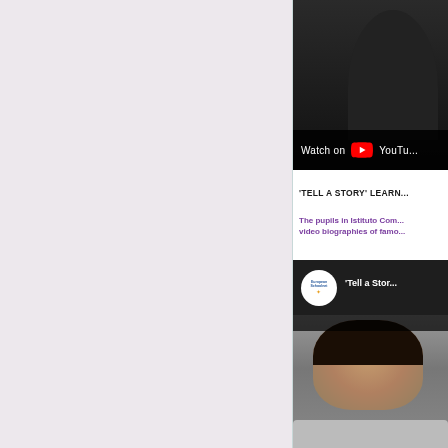[Figure (screenshot): YouTube video thumbnail showing a person in dark clothing with 'Watch on YouTube' overlay bar at the bottom]
'TELL A STORY' LEARN...
The pupils in Istituto Com... video biographies of famo...
[Figure (screenshot): YouTube video player showing 'Tell a Stor...' with European Schoolnet logo circle and a student using a laptop]